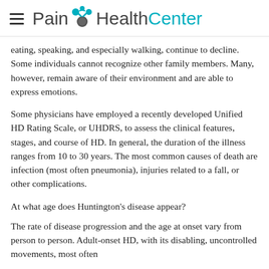Pain HealthCenter
eating, speaking, and especially walking, continue to decline. Some individuals cannot recognize other family members. Many, however, remain aware of their environment and are able to express emotions.
Some physicians have employed a recently developed Unified HD Rating Scale, or UHDRS, to assess the clinical features, stages, and course of HD. In general, the duration of the illness ranges from 10 to 30 years. The most common causes of death are infection (most often pneumonia), injuries related to a fall, or other complications.
At what age does Huntington's disease appear?
The rate of disease progression and the age at onset vary from person to person. Adult-onset HD, with its disabling, uncontrolled movements, most often